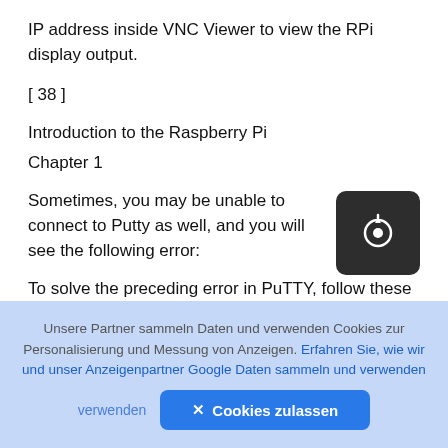IP address inside VNC Viewer to view the RPi display output.
[ 38 ]
Introduction to the Raspberry Pi
Chapter 1
Sometimes, you may be unable to connect to Putty as well, and you will see the following error:
[Figure (other): Dark rounded square button with a camera/upload icon in white]
To solve the preceding error in PuTTY, follow these steps: 1. Connect a LAN cable to the RPi and the
Unsere Partner sammeln Daten und verwenden Cookies zur Personalisierung und Messung von Anzeigen. Erfahren Sie, wie wir und unser Anzeigenpartner Google Daten sammeln und verwenden
✕ Cookies zulassen